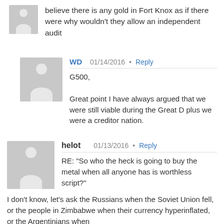believe there is any gold in Fort Knox as if there were why wouldn't they allow an independent audit
WD  01/14/2016 • Reply
G500,

Great point I have always argued that we were still viable during the Great D plus we were a creditor nation.
helot  01/13/2016 • Reply
RE: "So who the heck is going to buy the metal when all anyone has is worthless script?"

I don't know, let's ask the Russians when the Soviet Union fell, or the people in Zimbabwe when their currency hyperinflated, or the Argentinians when